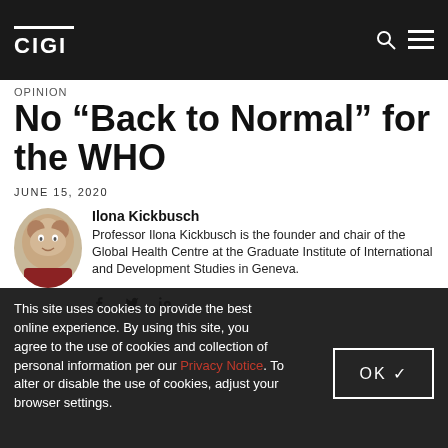CIGI
Opinion
No “Back to Normal” for the WHO
JUNE 15, 2020
Ilona Kickbusch
Professor Ilona Kickbusch is the founder and chair of the Global Health Centre at the Graduate Institute of International and Development Studies in Geneva.
This site uses cookies to provide the best online experience. By using this site, you agree to the use of cookies and collection of personal information per our Privacy Notice. To alter or disable the use of cookies, adjust your browser settings.